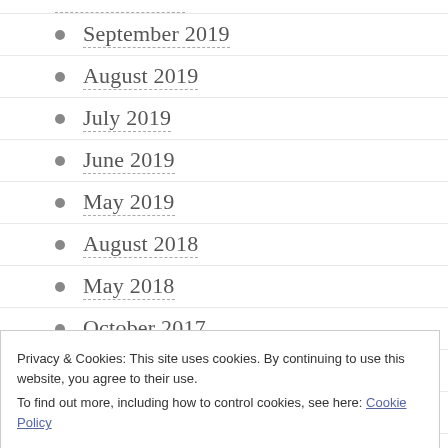September 2019
August 2019
July 2019
June 2019
May 2019
August 2018
May 2018
October 2017
June 2017
November 2016
July 2016
Privacy & Cookies: This site uses cookies. By continuing to use this website, you agree to their use. To find out more, including how to control cookies, see here: Cookie Policy
Close and accept